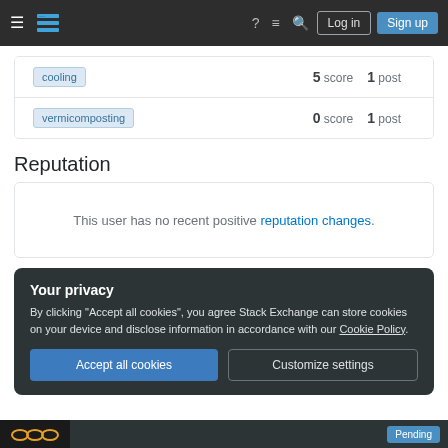Stack Exchange navigation bar with Log in and Sign up buttons
| Tag | Score | Posts |
| --- | --- | --- |
| cooling | 5 score | 1 post |
| vermicomposting | 0 score | 1 post |
Reputation
This user has no recent positive reputation changes.
Your privacy
By clicking "Accept all cookies", you agree Stack Exchange can store cookies on your device and disclose information in accordance with our Cookie Policy.
Accept all cookies   Customize settings